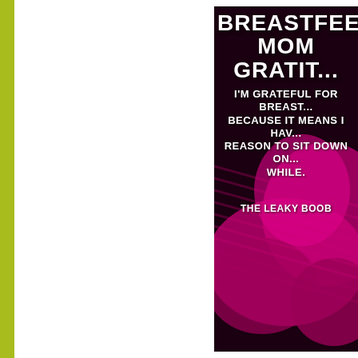[Figure (illustration): A motivational/humorous breastfeeding mom gratitude quote card. Dark background with magenta/pink abstract shapes. White bold text reads: 'BREASTFEEDING MOM GRATITUDE' as title, then body text: 'I'M GRATEFUL FOR BREASTFEEDING BECAUSE IT MEANS I HAVE A REASON TO SIT DOWN ONCE IN A WHILE.' Attribution at bottom: 'THE LEAKY BOOB'. Green sidebar bar on left edge, white space on left portion.]